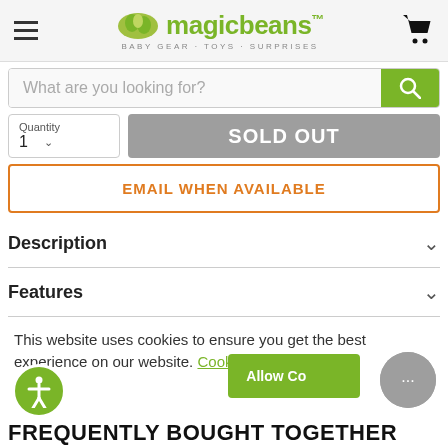magic beans - BABY GEAR · TOYS · SURPRISES
What are you looking for?
Quantity 1 | SOLD OUT
EMAIL WHEN AVAILABLE
Description
Features
This website uses cookies to ensure you get the best experience on our website. Cookie Policy
Allow Cookies
FREQUENTLY BOUGHT TOGETHER